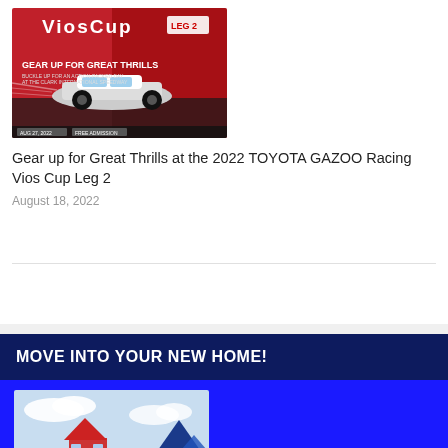[Figure (photo): Toyota Gazoo Racing Vios Cup promotional image with a racing car, red background, and text 'GEAR UP FOR GREAT THRILLS']
Gear up for Great Thrills at the 2022 TOYOTA GAZOO Racing Vios Cup Leg 2
August 18, 2022
MOVE INTO YOUR NEW HOME!
[Figure (photo): Real estate advertisement with a house illustration against a light blue sky background]